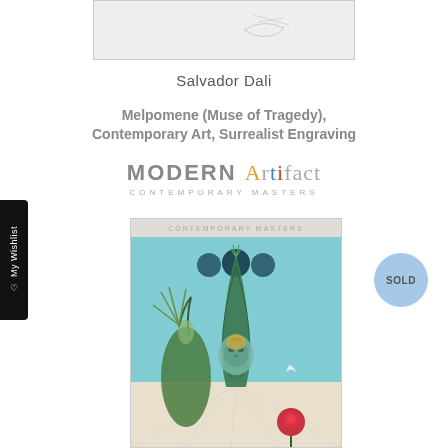[Figure (photo): Small thumbnail sketch/drawing at the top center of the page, light beige/white background]
Salvador Dali
Melpomene (Muse of Tragedy), Contemporary Art, Surrealist Engraving
[Figure (logo): MODERN Artifact CONTEMPORARY MASTERS logo with colorful letters]
[Figure (photo): Surrealist engraving artwork by Salvador Dali showing a figure with green swirling forms, a masked face, a rose, and floating spheres against a blue sky]
SOLD
My Wishlist